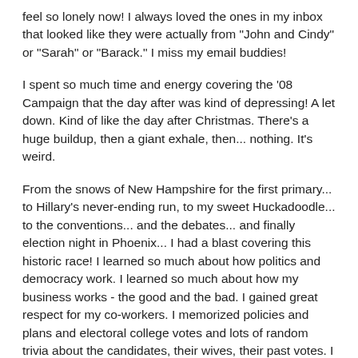feel so lonely now!  I always loved the ones in my inbox that looked like they were actually from "John and Cindy" or "Sarah" or "Barack."  I miss my email buddies!
I spent so much time and energy covering the '08 Campaign that the day after was kind of depressing!  A let down.  Kind of like the day after Christmas.  There's a huge buildup, then a giant exhale, then... nothing.  It's weird.
From the snows of New Hampshire for the first primary... to Hillary's never-ending run, to my sweet Huckadoodle... to the conventions... and the debates... and finally election night in Phoenix... I had a blast covering this historic race!  I learned so much about how politics and democracy work.  I learned so much about how my business works - the good and the bad.  I gained great respect for my co-workers.  I memorized policies and plans and electoral college votes and lots of random trivia about the candidates, their wives, their past votes.  I am so blessed that I got to be here, in this time, in this moment in history, wow!
Sometimes, I think - I am one lucky girl, but no, that's not it